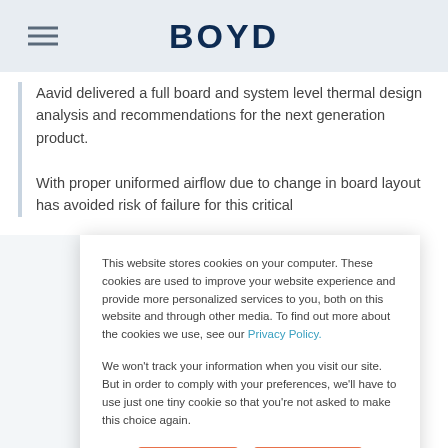BOYD
Aavid delivered a full board and system level thermal design analysis and recommendations for the next generation product.

With proper uniformed airflow due to change in board layout has avoided risk of failure for this critical
This website stores cookies on your computer. These cookies are used to improve your website experience and provide more personalized services to you, both on this website and through other media. To find out more about the cookies we use, see our Privacy Policy.

We won't track your information when you visit our site. But in order to comply with your preferences, we'll have to use just one tiny cookie so that you're not asked to make this choice again.
Accept
Decline